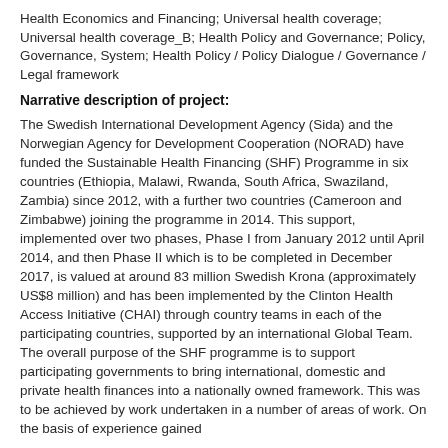Health Economics and Financing; Universal health coverage; Universal health coverage_B; Health Policy and Governance; Policy, Governance, System; Health Policy / Policy Dialogue / Governance / Legal framework
Narrative description of project:
The Swedish International Development Agency (Sida) and the Norwegian Agency for Development Cooperation (NORAD) have funded the Sustainable Health Financing (SHF) Programme in six countries (Ethiopia, Malawi, Rwanda, South Africa, Swaziland, Zambia) since 2012, with a further two countries (Cameroon and Zimbabwe) joining the programme in 2014. This support, implemented over two phases, Phase I from January 2012 until April 2014, and then Phase II which is to be completed in December 2017, is valued at around 83 million Swedish Krona (approximately US$8 million) and has been implemented by the Clinton Health Access Initiative (CHAI) through country teams in each of the participating countries, supported by an international Global Team. The overall purpose of the SHF programme is to support participating governments to bring international, domestic and private health finances into a nationally owned framework. This was to be achieved by work undertaken in a number of areas of work. On the basis of experience gained